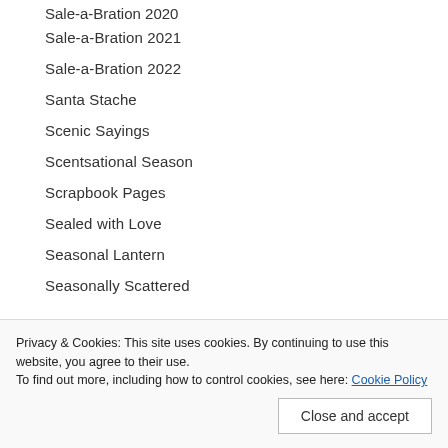Sale-a-Bration 2020
Sale-a-Bration 2021
Sale-a-Bration 2022
Santa Stache
Scenic Sayings
Scentsational Season
Scrapbook Pages
Sealed with Love
Seasonal Lantern
Seasonally Scattered
Privacy & Cookies: This site uses cookies. By continuing to use this website, you agree to their use. To find out more, including how to control cookies, see here: Cookie Policy
Close and accept